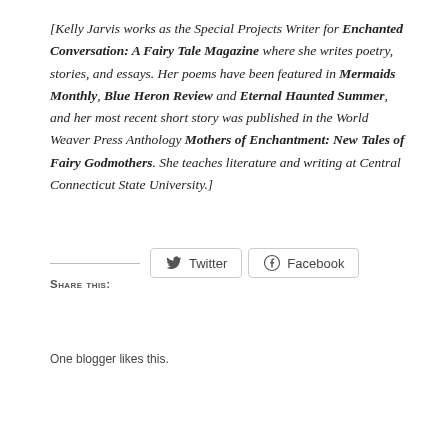[Kelly Jarvis works as the Special Projects Writer for Enchanted Conversation: A Fairy Tale Magazine where she writes poetry, stories, and essays. Her poems have been featured in Mermaids Monthly, Blue Heron Review and Eternal Haunted Summer, and her most recent short story was published in the World Weaver Press Anthology Mothers of Enchantment: New Tales of Fairy Godmothers. She teaches literature and writing at Central Connecticut State University.]
Share this:
[Figure (other): Social sharing buttons: Twitter and Facebook]
Like
One blogger likes this.